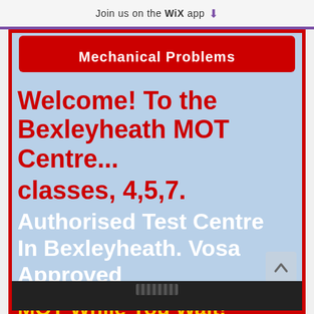Join us on the WiX app ↓
Mechanical Problems
Welcome! To the Bexleyheath MOT Centre... classes, 4,5,7. Authorised Test Centre In Bexleyheath. Vosa Approved
MOT While You Wait!